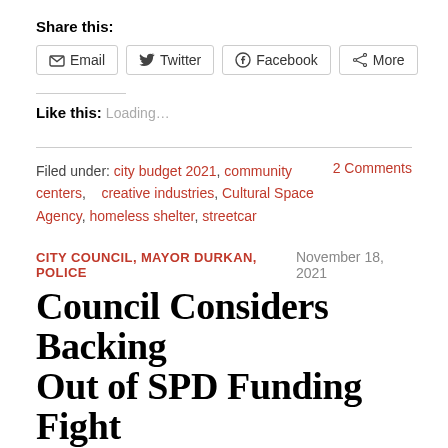Share this:
Email | Twitter | Facebook | More (share buttons)
Like this:
Loading…
Filed under: city budget 2021, community centers, creative industries, Cultural Space Agency, homeless shelter, streetcar    2 Comments
CITY COUNCIL, MAYOR DURKAN, POLICE    November 18, 2021
Council Considers Backing Out of SPD Funding Fight